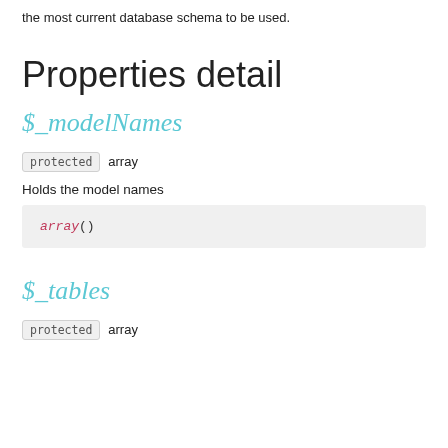the most current database schema to be used.
Properties detail
$_modelNames
protected array
Holds the model names
array()
$_tables
protected array